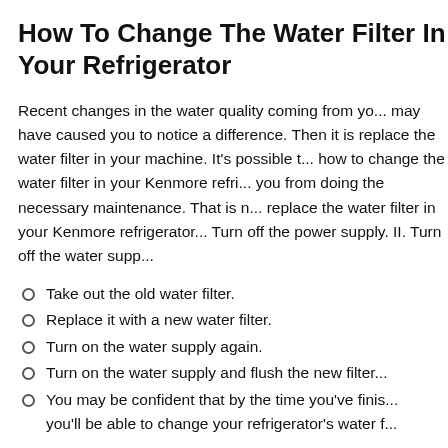How To Change The Water Filter In Your Refrigerator
Recent changes in the water quality coming from your tap may have caused you to notice a difference. Then it is time to replace the water filter in your machine. It's possible that how to change the water filter in your Kenmore refrigerator you from doing the necessary maintenance. That is no need to replace the water filter in your Kenmore refrigerator. I. Turn off the power supply. II. Turn off the water supply.
Take out the old water filter.
Replace it with a new water filter.
Turn on the water supply again.
Turn on the water supply and flush the new filter.
You may be confident that by the time you've finished, you'll be able to change your refrigerator's water filter.